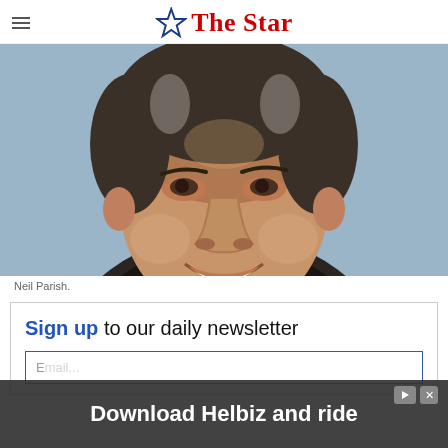The Star
[Figure (photo): Headshot portrait photo of Neil Parish, a middle-aged man with dark grey hair, smiling, wearing a dark suit and white shirt, against a light blue-grey background.]
Neil Parish.
Sign up to our daily newsletter
Email...
Download Helbiz and ride